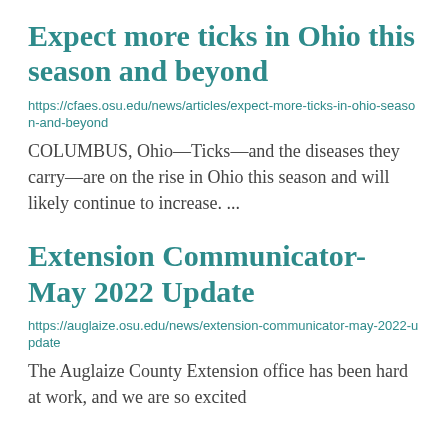Expect more ticks in Ohio this season and beyond
https://cfaes.osu.edu/news/articles/expect-more-ticks-in-ohio-season-and-beyond
COLUMBUS, Ohio—Ticks—and the diseases they carry—are on the rise in Ohio this season and will likely continue to increase. ...
Extension Communicator- May 2022 Update
https://auglaize.osu.edu/news/extension-communicator-may-2022-update
The Auglaize County Extension office has been hard at work, and we are so excited